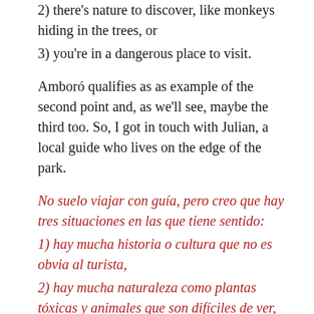2) there's nature to discover, like monkeys hiding in the trees, or
3) you're in a dangerous place to visit.
Amboró qualifies as as example of the second point and, as we'll see, maybe the third too. So, I got in touch with Julian, a local guide who lives on the edge of the park.
No suelo viajar con guía, pero creo que hay tres situaciones en las que tiene sentido:
1) hay mucha historia o cultura que no es obvia al turista,
2) hay mucha naturaleza como plantas tóxicas y animales que son difíciles de ver,
3) el lugar es bastante peligroso.
Amboró califica como un ejemplo de la segunda situación. A lo mejor de la tercera también, como